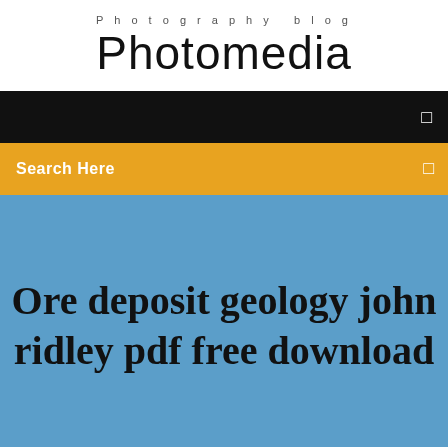Photography blog
Photomedia
☰
Search Here
Ore deposit geology john ridley pdf free download